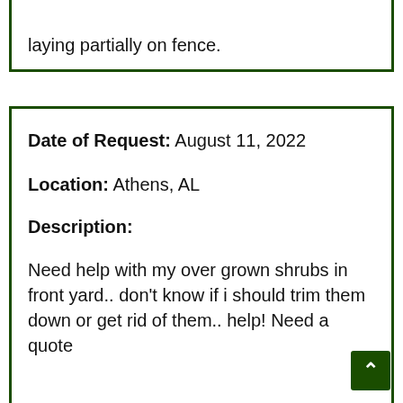laying partially on fence.
Date of Request: August 11, 2022
Location: Athens, AL
Description:
Need help with my over grown shrubs in front yard.. don't know if i should trim them down or get rid of them.. help! Need a quote